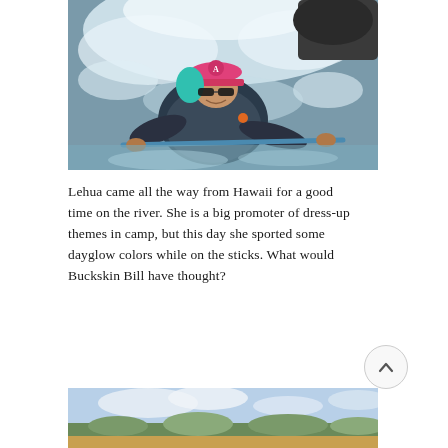[Figure (photo): Person kayaking in whitewater rapids, wearing a pink cap with teal/cyan hair, sunglasses, and a dark wetsuit/life vest, holding a paddle, with white churning water in background.]
Lehua came all the way from Hawaii for a good time on the river. She is a big promoter of dress-up themes in camp, but this day she sported some dayglow colors while on the sticks. What would Buckskin Bill have thought?
[Figure (photo): Partial view of a landscape photo with blue sky and distant hills or trees along what appears to be a riverbank.]